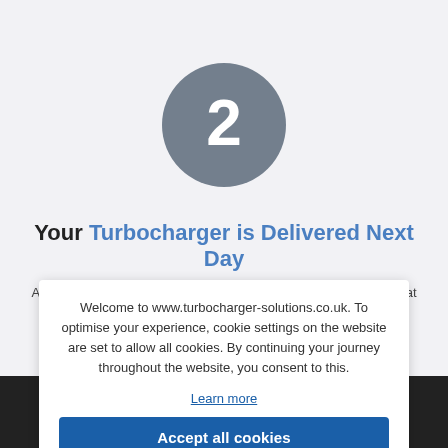[Figure (infographic): Grey circle with white number 2 inside, representing step 2 in a process]
Your Turbocharger is Delivered Next Day
All stock turbochargers ordered prior to 3pm will be dispatched that day. You will receive your turbocharger in a packaged box.
Welcome to www.turbocharger-solutions.co.uk. To optimise your experience, cookie settings on the website are set to allow all cookies. By continuing your journey throughout the website, you consent to this.
Learn more
Accept all cookies
Call to order: 01525 489800